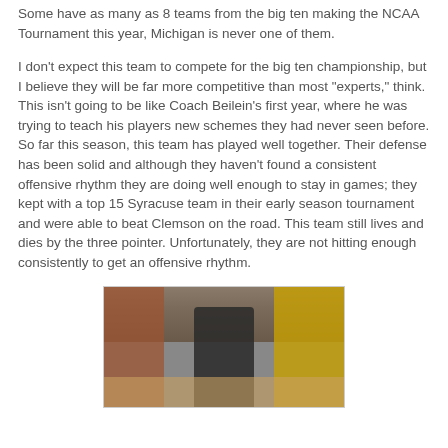Some have as many as 8 teams from the big ten making the NCAA Tournament this year, Michigan is never one of them.
I don't expect this team to compete for the big ten championship, but I believe they will be far more competitive than most "experts," think. This isn't going to be like Coach Beilein's first year, where he was trying to teach his players new schemes they had never seen before. So far this season, this team has played well together. Their defense has been solid and although they haven't found a consistent offensive rhythm they are doing well enough to stay in games; they kept with a top 15 Syracuse team in their early season tournament and were able to beat Clemson on the road. This team still lives and dies by the three pointer. Unfortunately, they are not hitting enough consistently to get an offensive rhythm.
[Figure (photo): Basketball game photo showing players on the court with crowd in the background, appears to be a Michigan basketball game with yellow/gold uniforms visible]